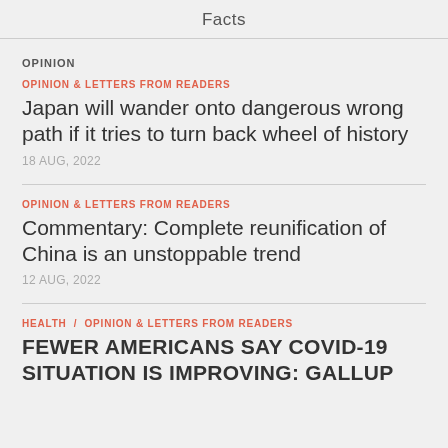Facts
OPINION
OPINION & LETTERS FROM READERS
Japan will wander onto dangerous wrong path if it tries to turn back wheel of history
18 AUG, 2022
OPINION & LETTERS FROM READERS
Commentary: Complete reunification of China is an unstoppable trend
12 AUG, 2022
HEALTH / OPINION & LETTERS FROM READERS
FEWER AMERICANS SAY COVID-19 SITUATION IS IMPROVING: GALLUP